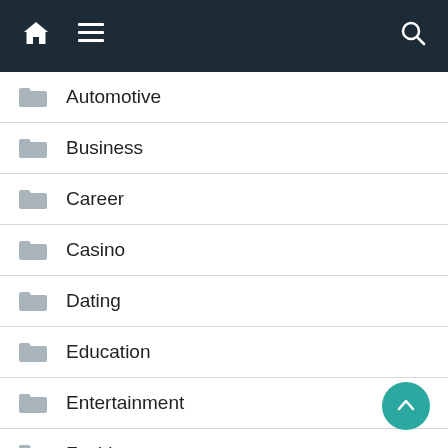Navigation bar with home, menu, and search icons
Automotive
Business
Career
Casino
Dating
Education
Entertainment
Fashion
Featured
Finance